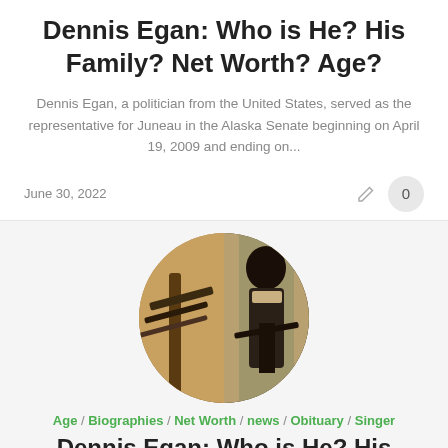Dennis Egan: Who is He? His Family? Net Worth? Age?
Dennis Egan, a politician from the United States, served as the representative for Juneau in the Alaska Senate beginning on April 19, 2009 and ending on...
June 30, 2022
[Figure (photo): Two side-by-side photos of a person playing guitar, shown in a circular crop]
Age / Biographies / Net Worth / news / Obituary / Singer
Dennis Egan: Who is He? His Family? Net...